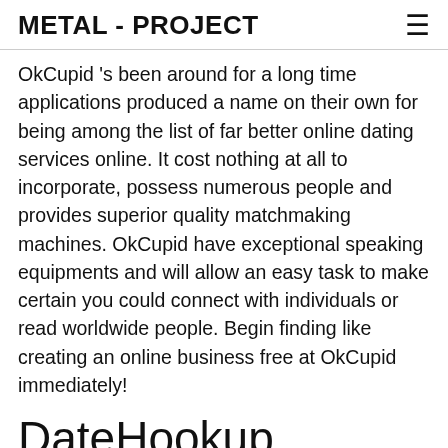METAL - PROJECT
OkCupid 's been around for a long time applications produced a name on their own for being among the list of far better online dating services online. It cost nothing at all to incorporate, possess numerous people and provides superior quality matchmaking machines. OkCupid have exceptional speaking equipments and will allow an easy task to make certain you could connect with individuals or read worldwide people. Begin finding like creating an online business free at OkCupid immediately!
DateHookup
DateHookup try an extra cost-free website like POF helping you to making love without spending